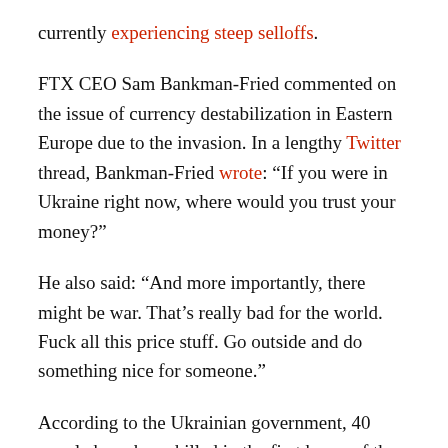currently experiencing steep selloffs.
FTX CEO Sam Bankman-Fried commented on the issue of currency destabilization in Eastern Europe due to the invasion. In a lengthy Twitter thread, Bankman-Fried wrote: “If you were in Ukraine right now, where would you trust your money?”
He also said: “And more importantly, there might be war. That’s really bad for the world. Fuck all this price stuff. Go outside and do something nice for someone.”
According to the Ukrainian government, 40 people have been killed in the first hours of the Russian invasion, with several dozens wounded. In addition to targeting Ukrainian military installations, there have been reports of Russian missiles hitting critical